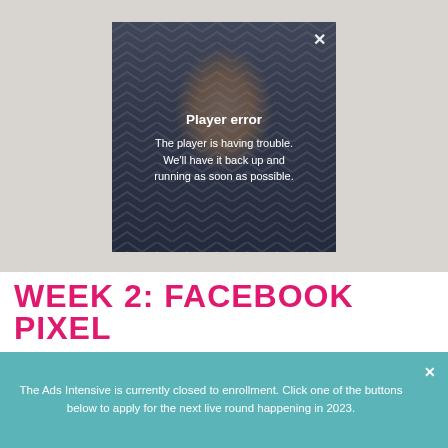[Figure (screenshot): Video player showing a woman with blonde hair, displaying a 'Player error' overlay message with a close button (X) in the top right corner. The error text reads: 'Player error — The player is having trouble. We'll have it back up and running as soon as possible.']
WEEK 2: FACEBOOK PIXEL
The Ads Intensive is currently closed to enrollment. Click one of the buttons below to apply for the next live round happening in 2023.